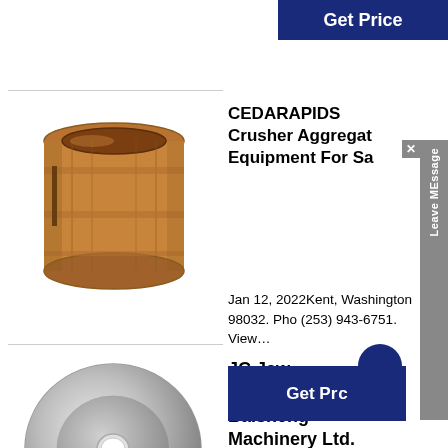[Figure (photo): Top partial 'Get Price' button (dark blue) visible at top right]
[Figure (photo): Bronze/copper cylindrical crusher bushing part]
CEDARAPIDS Crusher Aggregate Equipment For Sa
Jan 12, 2022Kent, Washington 98032. Pho (253) 943-6751. View…
[Figure (photo): Get Price button (dark blue) partially obscured by Leave MEssage tab]
[Figure (photo): Silver/metallic circular disc crusher jaw plate]
JC Jaw Crusher_Jiangsu Baisheng Machinery Ltd.
JC Jaw Crusher-Jiangsu